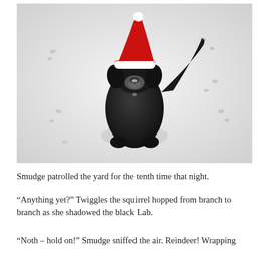[Figure (photo): A black Labrador dog wearing a red and white Santa hat, sitting in snow and looking up at the camera from above. Snow covers the ground with various footprints visible around the dog.]
Smudge patrolled the yard for the tenth time that night.
“Anything yet?” Twiggles the squirrel hopped from branch to branch as she shadowed the black Lab.
“Noth – hold on!” Smudge sniffed the air. Reindeer! Wrapping